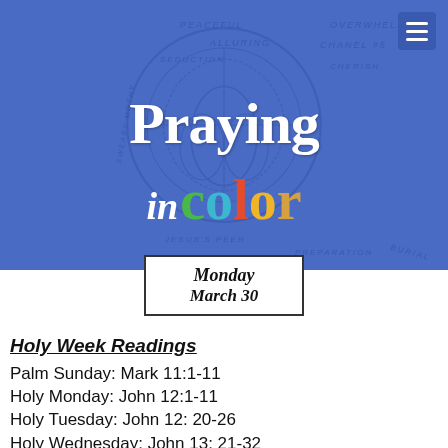[Figure (illustration): Praying in Color logo banner with blue background, decorative circular mandala watermark, scattered words (PEACEFUL, OVERWHELMING, ALLURING, CHANEL #5, SEDUCTION, BURIAL, PREPARATION, JESUS'S PEER, SWEARY, etc.), and colorful text logo. Menu icon (hamburger) in top right corner.]
Monday
March 30
Holy Week Readings
Palm Sunday: Mark 11:1-11
Holy Monday: John 12:1-11
Holy Tuesday: John 12: 20-26
Holy Wednesday: John 13: 21-32
Maundy Thursday: John 13: 1-17; 31b-35
Good Friday: John 18:1-19:42
Holy Saturday: Matthew 27: 57-66